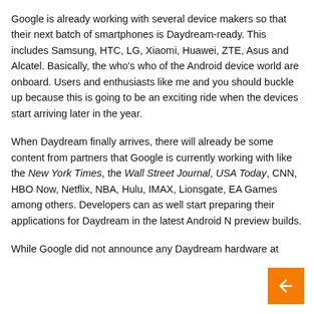Google is already working with several device makers so that their next batch of smartphones is Daydream-ready. This includes Samsung, HTC, LG, Xiaomi, Huawei, ZTE, Asus and Alcatel. Basically, the who's who of the Android device world are onboard. Users and enthusiasts like me and you should buckle up because this is going to be an exciting ride when the devices start arriving later in the year.
When Daydream finally arrives, there will already be some content from partners that Google is currently working with like the New York Times, the Wall Street Journal, USA Today, CNN, HBO Now, Netflix, NBA, Hulu, IMAX, Lionsgate, EA Games among others. Developers can as well start preparing their applications for Daydream in the latest Android N preview builds.
While Google did not announce any Daydream hardware at